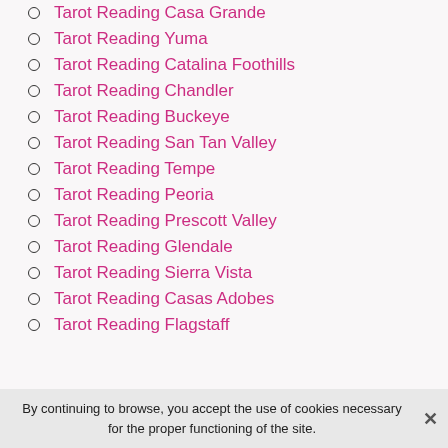Tarot Reading Casa Grande
Tarot Reading Yuma
Tarot Reading Catalina Foothills
Tarot Reading Chandler
Tarot Reading Buckeye
Tarot Reading San Tan Valley
Tarot Reading Tempe
Tarot Reading Peoria
Tarot Reading Prescott Valley
Tarot Reading Glendale
Tarot Reading Sierra Vista
Tarot Reading Casas Adobes
Tarot Reading Flagstaff
By continuing to browse, you accept the use of cookies necessary for the proper functioning of the site.